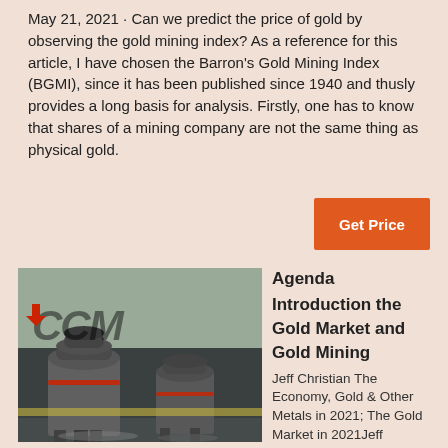May 21, 2021 · Can we predict the price of gold by observing the gold mining index? As a reference for this article, I have chosen the Barron's Gold Mining Index (BGMI), since it has been published since 1940 and thusly provides a long basis for analysis. Firstly, one has to know that shares of a mining company are not the same thing as physical gold.
[Figure (other): Orange button labeled 'Get Price']
[Figure (photo): Industrial mining equipment (cone crushers) in a factory/warehouse setting, with CCM watermark and red arrow]
Agenda Introduction the Gold Market and Gold Mining Jeff Christian The Economy, Gold & Other Metals in 2021; The Gold Market in 2021Jeff